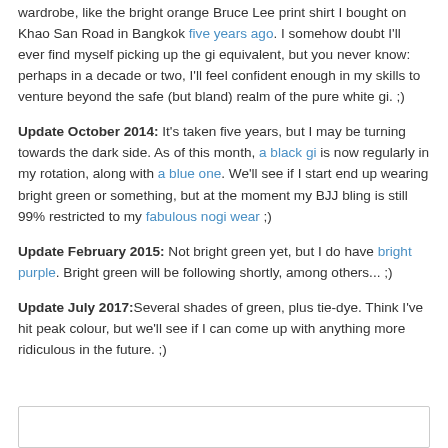wardrobe, like the bright orange Bruce Lee print shirt I bought on Khao San Road in Bangkok five years ago. I somehow doubt I'll ever find myself picking up the gi equivalent, but you never know: perhaps in a decade or two, I'll feel confident enough in my skills to venture beyond the safe (but bland) realm of the pure white gi. ;)
Update October 2014: It's taken five years, but I may be turning towards the dark side. As of this month, a black gi is now regularly in my rotation, along with a blue one. We'll see if I start end up wearing bright green or something, but at the moment my BJJ bling is still 99% restricted to my fabulous nogi wear ;)
Update February 2015: Not bright green yet, but I do have bright purple. Bright green will be following shortly, among others... ;)
Update July 2017: Several shades of green, plus tie-dye. Think I've hit peak colour, but we'll see if I can come up with anything more ridiculous in the future. ;)